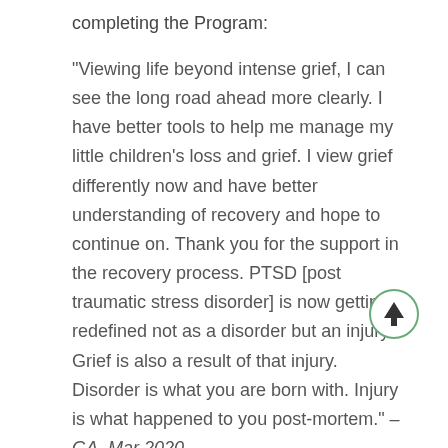completing the Program:
"Viewing life beyond intense grief, I can see the long road ahead more clearly. I have better tools to help me manage my little children's loss and grief. I view grief differently now and have better understanding of recovery and hope to continue on. Thank you for the support in the recovery process. PTSD [post traumatic stress disorder] is now getting redefined not as a disorder but an injury. Grief is also a result of that injury. Disorder is what you are born with. Injury is what happened to you post-mortem." –GA, Mar 2020.
"I appreciated learning useful tools such